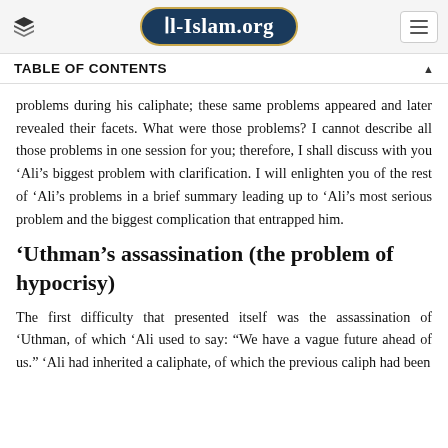Al-Islam.org
TABLE OF CONTENTS
problems during his caliphate; these same problems appeared and later revealed their facets. What were those problems? I cannot describe all those problems in one session for you; therefore, I shall discuss with you ‘Ali’s biggest problem with clarification. I will enlighten you of the rest of ‘Ali’s problems in a brief summary leading up to ‘Ali’s most serious problem and the biggest complication that entrapped him.
‘Uthman’s assassination (the problem of hypocrisy)
The first difficulty that presented itself was the assassination of ‘Uthman, of which ‘Ali used to say: “We have a vague future ahead of us.” ‘Ali had inherited a caliphate, of which the previous caliph had been